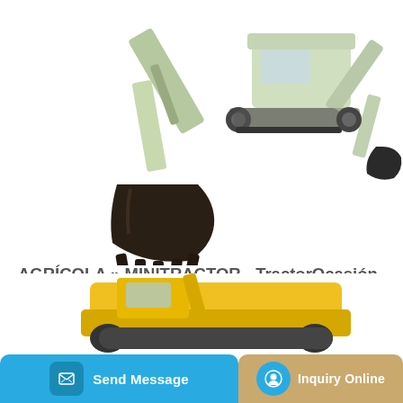[Figure (photo): Two construction/excavator machines on white background - one showing the bucket attachment close-up on the left, and a full green tracked excavator on the right]
AGRÍCOLA » MINITRACTOR - TractorOcasión
KUBOTA CON MATRICULA Y EQUIPO. AGRÍCOLA MINITRACTOR. Minitractor de ocasión con documentacion y apto para circular por via publica, con motor diesel de 3...
Learn More
[Figure (photo): Partial view of yellow construction equipment at the bottom of the page]
Send Message
Inquiry Online